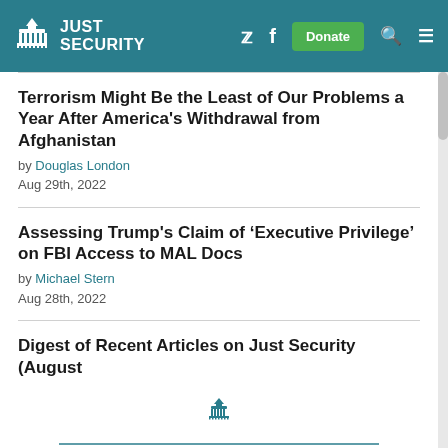JUST SECURITY
Terrorism Might Be the Least of Our Problems a Year After America's Withdrawal from Afghanistan
by Douglas London
Aug 29th, 2022
Assessing Trump's Claim of ‘Executive Privilege’ on FBI Access to MAL Docs
by Michael Stern
Aug 28th, 2022
Digest of Recent Articles on Just Security (August
Key Topics
Scroll within to view all topics.